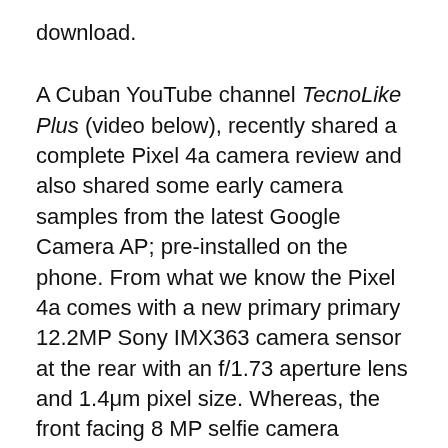download.
A Cuban YouTube channel TecnoLike Plus (video below), recently shared a complete Pixel 4a camera review and also shared some early camera samples from the latest Google Camera AP; pre-installed on the phone. From what we know the Pixel 4a comes with a new primary primary 12.2MP Sony IMX363 camera sensor at the rear with an f/1.73 aperture lens and 1.4μm pixel size. Whereas, the front facing 8 MP selfie camera features a Sony IMX355 sensor with an f/2.0 aperture lens and 1.14μm pixel size.
Moreover, the Pixel 4a also features a new camera app. Some of the main features of the latest Google Pixel 4a camera app include enhanced Night